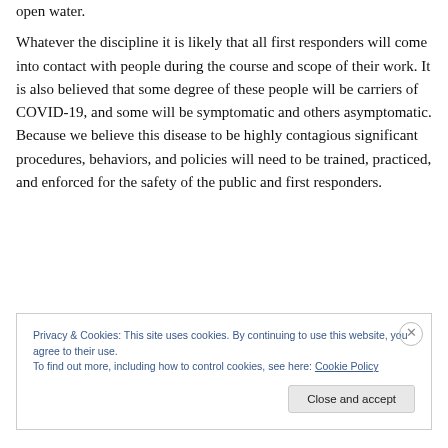open water.
Whatever the discipline it is likely that all first responders will come into contact with people during the course and scope of their work. It is also believed that some degree of these people will be carriers of COVID-19, and some will be symptomatic and others asymptomatic. Because we believe this disease to be highly contagious significant procedures, behaviors, and policies will need to be trained, practiced, and enforced for the safety of the public and first responders.
Privacy & Cookies: This site uses cookies. By continuing to use this website, you agree to their use.
To find out more, including how to control cookies, see here: Cookie Policy
Close and accept